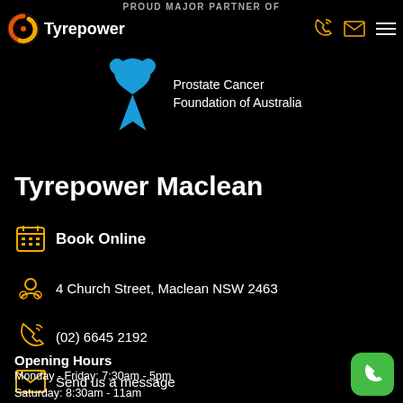PROUD MAJOR PARTNER OF
[Figure (logo): Tyrepower logo with circular orange/red swirl icon and white Tyrepower text]
[Figure (logo): Prostate Cancer Foundation of Australia logo with blue ribbon/tie icon]
Tyrepower Maclean
Book Online
4 Church Street, Maclean NSW 2463
(02) 6645 2192
Send us a message
Opening Hours
Monday - Friday: 7:30am - 5pm
Saturday: 8:30am - 11am
Sunday: Closed